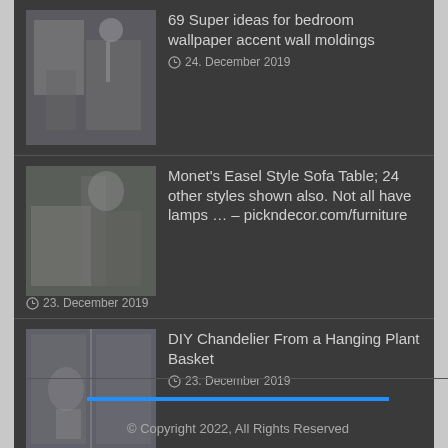69 Super ideas for bedroom wallpaper accent wall moldings — 24. December 2019
Monet's Easel Style Sofa Table; 24 other styles shown also. Not all have lamps … – pickndecor.com/furniture — 23. December 2019
DIY Chandelier From a Hanging Plant Basket — 23. December 2019
Transformer Chic: 15 Cool Pieces of Convertible Furniture — 23. December 2019
© Copyright 2022, All Rights Reserved